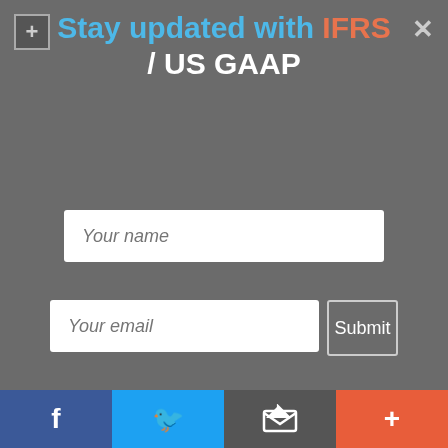Stay updated with IFRS / US GAAP
ignore USD 8 and USD 2 while computing the Gross Profit, the Gross Profit will be inflated, which I believe is not correct.
Thanks in advance. I would be really happy to get the references link from the IFRS Standards.
In nut sell, the query is : whether the carriage cost charged to the customer and carriage cost separately
f  [twitter]  [share]  +